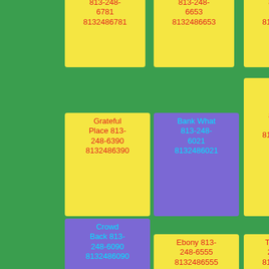813-248-6781 8132486781
813-248-6653 8132486653
813-248-6923 8132486923
Grateful Place 813-248-6390 8132486390
Bank What 813-248-6021 8132486021
Walnut Ptolemy Expelled 813-248-6608 8132486608
Crowd Back 813-248-6090 8132486090
Ebony 813-248-6555 8132486555
Them 813-248-6635 8132486635
Howling Cliff; 813-248-6945 8132486945
Wrapped Afternoon 813-248-6891 8132486891
Glumly Counting Gnight 813-248-6801 8132486801